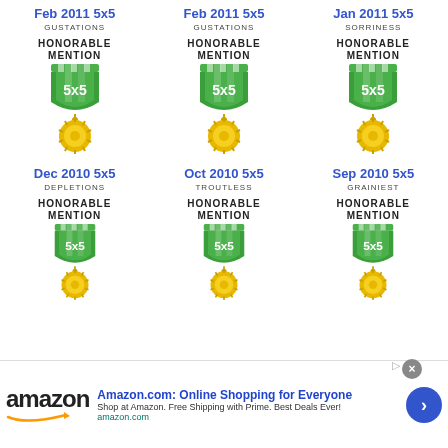Feb 2011 5x5
GUSTATIONS
HONORABLE MENTION
[Figure (illustration): 5x5 honorable mention medal badge: green shield with '5x5' text and gold sunburst medallion below]
Feb 2011 5x5
GUSTATIONS
HONORABLE MENTION
[Figure (illustration): 5x5 honorable mention medal badge: green shield with '5x5' text and gold sunburst medallion below]
Jan 2011 5x5
SORRINESS
HONORABLE MENTION
[Figure (illustration): 5x5 honorable mention medal badge: green shield with '5x5' text and gold sunburst medallion below]
Dec 2010 5x5
DEPLETIONS
HONORABLE MENTION
[Figure (illustration): 5x5 honorable mention medal badge: green shield with '5x5' text and gold sunburst medallion below]
Oct 2010 5x5
TROUTLESS
HONORABLE MENTION
[Figure (illustration): 5x5 honorable mention medal badge: green shield with '5x5' text and gold sunburst medallion below]
Sep 2010 5x5
GRAINIEST
HONORABLE MENTION
[Figure (illustration): 5x5 honorable mention medal badge: green shield with '5x5' text and gold sunburst medallion below]
Amazon.com: Online Shopping for Everyone. Shop at Amazon. Free Shipping with Prime. Best Deals Ever! amazon.com